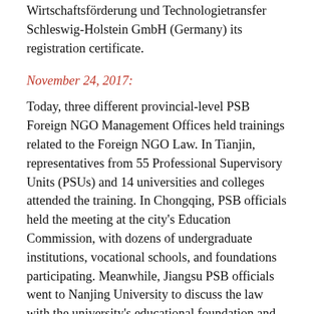Wirtschaftsförderung und Technologietransfer Schleswig-Holstein GmbH (Germany) its registration certificate.
November 24, 2017:
Today, three different provincial-level PSB Foreign NGO Management Offices held trainings related to the Foreign NGO Law. In Tianjin, representatives from 55 Professional Supervisory Units (PSUs) and 14 universities and colleges attended the training. In Chongqing, PSB officials held the meeting at the city's Education Commission, with dozens of undergraduate institutions, vocational schools, and foundations participating. Meanwhile, Jiangsu PSB officials went to Nanjing University to discuss the law with the university's educational foundation and various department officials.
November 24, 2017:
Today, the Inner Mongolia PSB Foreign NGO